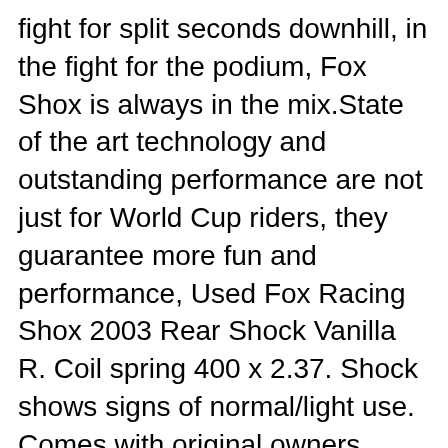fight for split seconds downhill, in the fight for the podium, Fox Shox is always in the mix.State of the art technology and outstanding performance are not just for World Cup riders, they guarantee more fun and performance, Used Fox Racing Shox 2003 Rear Shock Vanilla R. Coil spring 400 x 2.37. Shock shows signs of normal/light use. Comes with original owners manual. Shipping within USA only. Payment due within 3 days of winning bid..
Forks Shocks Clearance Forks, Shocks & Seatposts TF Staff Ex-Demo Forks, Shocks & Seatposts Seatposts Fork Springs Rear Shock Springs Fork Parts Shock Parts Seatpost Parts Wheel Parts